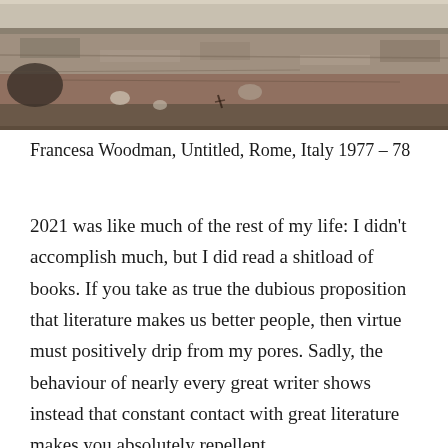[Figure (photo): Black and white photograph showing a ground-level view of a rocky or earthen surface, possibly an archaeological site or outdoor terrain. The image is cropped at the top of the page.]
Francesa Woodman, Untitled, Rome, Italy 1977 – 78
2021 was like much of the rest of my life: I didn't accomplish much, but I did read a shitload of books. If you take as true the dubious proposition that literature makes us better people, then virtue must positively drip from my pores. Sadly, the behaviour of nearly every great writer shows instead that constant contact with great literature makes you absolutely repellent.